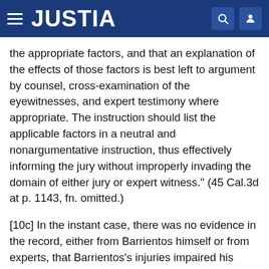JUSTIA
the appropriate factors, and that an explanation of the effects of those factors is best left to argument by counsel, cross-examination of the eyewitnesses, and expert testimony where appropriate. The instruction should list the applicable factors in a neutral and nonargumentative instruction, thus effectively informing the jury without improperly invading the domain of either jury or expert witness." (45 Cal.3d at p. 1143, fn. omitted.)
[10c] In the instant case, there was no evidence in the record, either from Barrientos himself or from experts, that Barrientos's injuries impaired his ability to observe. Nor was there evidence of studies on eyewitness identification which would support the proposed instructions even if they were not argumentative. [14] An instruction should not be given where no evidence